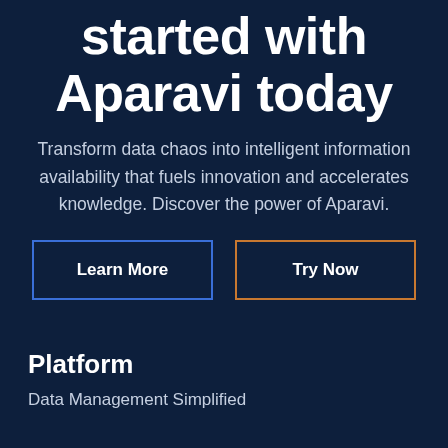started with Aparavi today
Transform data chaos into intelligent information availability that fuels innovation and accelerates knowledge. Discover the power of Aparavi.
Learn More
Try Now
Platform
Data Management Simplified